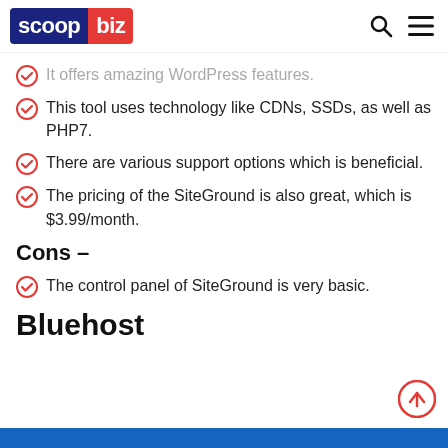scoop biz
It offers amazing WordPress features.
This tool uses technology like CDNs, SSDs, as well as PHP7.
There are various support options which is beneficial.
The pricing of the SiteGround is also great, which is $3.99/month.
Cons –
The control panel of SiteGround is very basic.
Bluehost